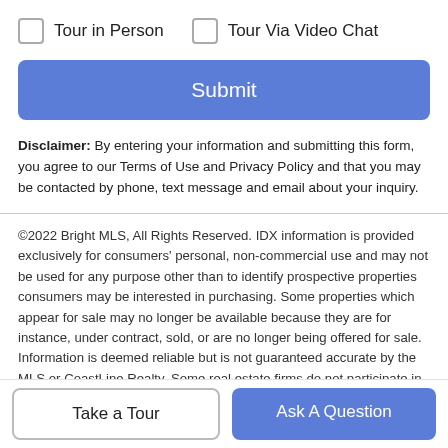Tour in Person
Tour Via Video Chat
Submit
Disclaimer: By entering your information and submitting this form, you agree to our Terms of Use and Privacy Policy and that you may be contacted by phone, text message and email about your inquiry.
©2022 Bright MLS, All Rights Reserved. IDX information is provided exclusively for consumers' personal, non-commercial use and may not be used for any purpose other than to identify prospective properties consumers may be interested in purchasing. Some properties which appear for sale may no longer be available because they are for instance, under contract, sold, or are no longer being offered for sale. Information is deemed reliable but is not guaranteed accurate by the MLS or CoastLine Realty. Some real estate firms do not participate in IDX and their listings
Take a Tour
Ask A Question